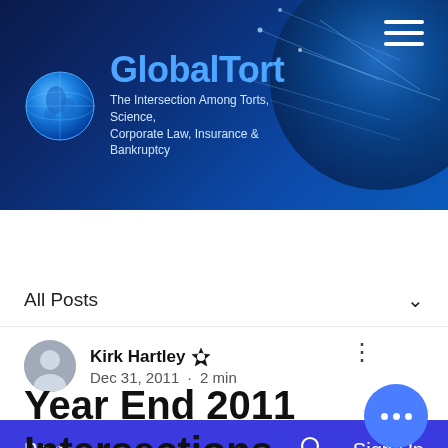[Figure (logo): GlobalTort website header banner with globe logo, site name 'GlobalTort', tagline 'The Intersection Among Torts, Science, Corporate Law, Insurance & Bankruptcy', hamburger menu icon, and blue space/earth background]
Post  Search  Sign Up
All Posts
Kirk Hartley  Dec 31, 2011 · 2 min
Year End 2011 Intersections Between Law and Science – U.S.